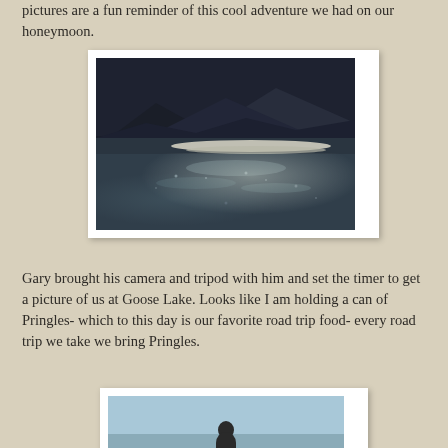pictures are a fun reminder of this cool adventure we had on our honeymoon.
[Figure (photo): Black and white photograph of Goose Lake with reflective water surface in foreground, mountains silhouetted in background, dramatic light reflection on water]
Gary brought his camera and tripod with him and set the timer to get a picture of us at Goose Lake. Looks like I am holding a can of Pringles- which to this day is our favorite road trip food- every road trip we take we bring Pringles.
[Figure (photo): Partial view of a photograph showing people at Goose Lake, cropped at bottom of page]